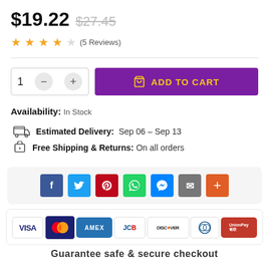$19.22  $27.45
★★★★☆ (5 Reviews)
1  −  +  ADD TO CART
Availability: In Stock
Estimated Delivery:  Sep 06 – Sep 13
Free Shipping & Returns:  On all orders
[Figure (infographic): Social share buttons: Facebook, Twitter, Pinterest, WhatsApp, Messenger, Email, More]
[Figure (infographic): Payment method icons: VISA, Mastercard, AMEX, JCB, DISCOVER, Diners Club, UnionPay]
Guarantee safe & secure checkout